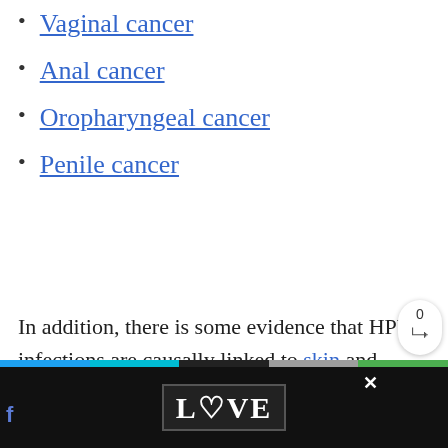Vaginal cancer
Anal cancer
Oropharyngeal cancer
Penile cancer
In addition, there is some evidence that HPV infections are causally linked to skin and prostate cancers. The link to skin cancer is still preliminary, but there is much stronger evidence that HPV is linked to many prostate cancers.